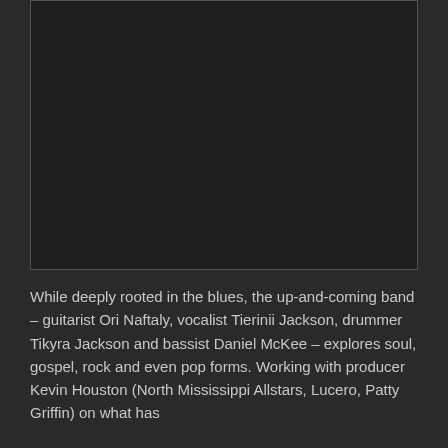[Figure (photo): Dark/black image placeholder rectangle with a thin border on a dark background]
While deeply rooted in the blues, the up-and-coming band – guitarist Ori Naftaly, vocalist Tierinii Jackson, drummer Tikyra Jackson and bassist Daniel McKee – explores soul, gospel, rock and even pop forms. Working with producer Kevin Houston (North Mississippi Allstars, Lucero, Patty Griffin) on what has been the boldest full-length recording they allow to...